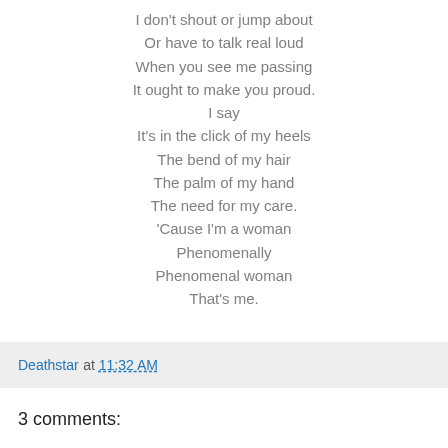I don't shout or jump about
Or have to talk real loud
When you see me passing
It ought to make you proud.
I say
It's in the click of my heels
The bend of my hair
The palm of my hand
The need for my care.
'Cause I'm a woman
Phenomenally
Phenomenal woman
That's me.
Deathstar at 11:32 AM
3 comments: